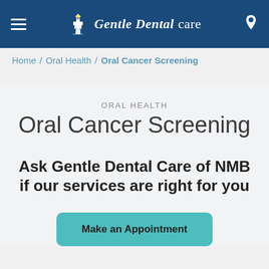Gentle Dental care
Home / Oral Health / Oral Cancer Screening
ORAL HEALTH
Oral Cancer Screening
Ask Gentle Dental Care of NMB if our services are right for you
Make an Appointment